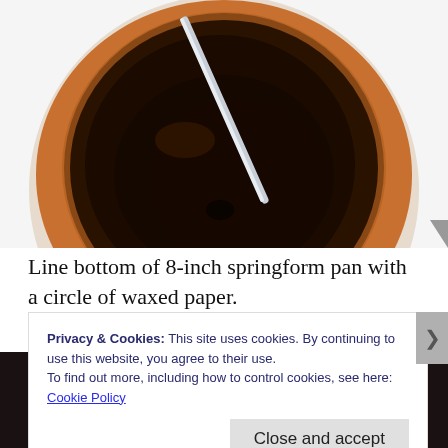[Figure (photo): Top-down view of a bowl of dark chocolate mixture being stirred with a metal spoon, with caramel/brown coloring around the edges, on a white surface.]
Line bottom of 8-inch springform pan with a circle of waxed paper.
[Figure (photo): Partial view of baking setup on dark surface, showing white plates or paper.]
Privacy & Cookies: This site uses cookies. By continuing to use this website, you agree to their use.
To find out more, including how to control cookies, see here:
Cookie Policy
Close and accept